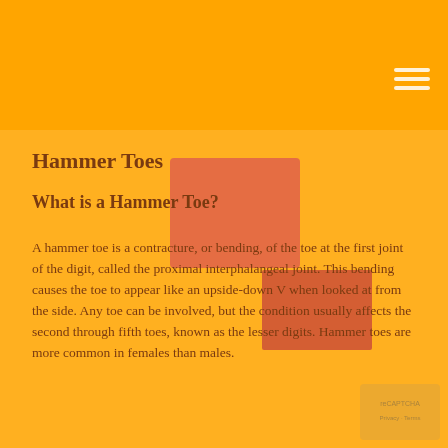Hammer Toes
What is a Hammer Toe?
A hammer toe is a contracture, or bending, of the toe at the first joint of the digit, called the proximal interphalangeal joint. This bending causes the toe to appear like an upside-down V when looked at from the side. Any toe can be involved, but the condition usually affects the second through fifth toes, known as the lesser digits. Hammer toes are more common in females than males.